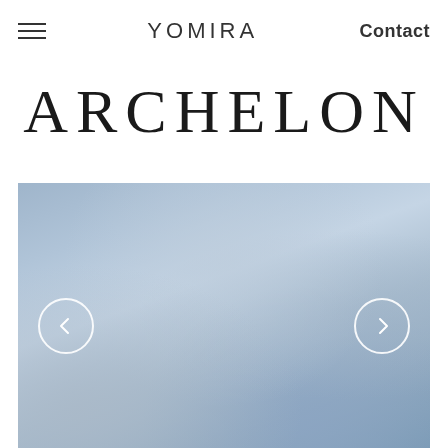≡  YOMIRA  Contact
ARCHELON
[Figure (photo): A blurred blue-grey gradient image used as a product slideshow background, with left (←) and right (→) circular navigation arrow buttons overlaid on the image.]